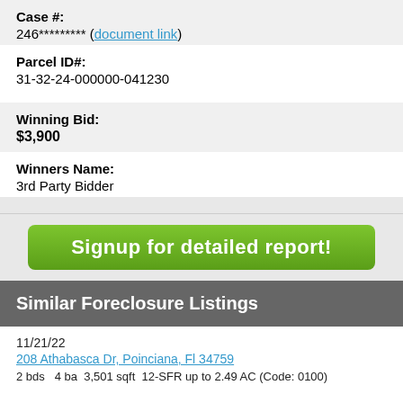Case #:
246********* (document link)
Parcel ID#:
31-32-24-000000-041230
Winning Bid:
$3,900
Winners Name:
3rd Party Bidder
[Figure (other): Green button: Signup for detailed report!]
Similar Foreclosure Listings
11/21/22
208 Athabasca Dr, Poinciana, Fl 34759
2 bds  4 ba  3,501 sqft  12-SFR up to 2.49 AC (Code: 0100)